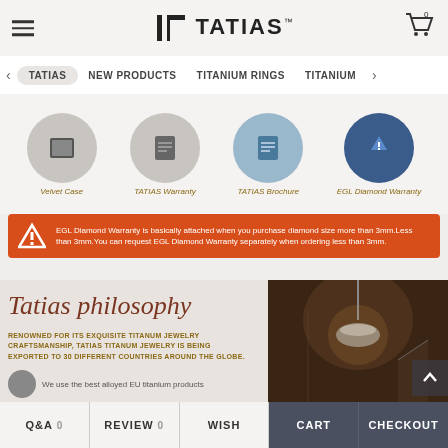TATIAS — navigation header with logo and cart
TATIAS | NEW PRODUCTS | TITANIUM RINGS | TITANIUM...
[Figure (screenshot): Four circular category icons: Velvet Case, TATIAS Warranty, TATIAS Brochure, EGL Diamond Warranty]
EGL Diamond Warranty is basically attached when you purchase diamond size more than 3mm.Less than 3mm.You can request EGL Diamond Warranty separately when ordering less than 3mm.
Tatias philosophy
RENOWNED FOR ITS EXQUISITE TITANUM JEWELRY CRAFTSMANSHIP, TATIAS TITANUM JEWELRY IS BEING EXPORTED TO 30 DIFFERENT COUNTRIES AROUND THE GLOBE.
We use the best alloyed EU titanium products
[Figure (photo): Interior of a workshop or atelier with hanging lamp, warm sepia tones]
Q&A 0 | REVIEW 0 | WISH | CART | CHECKOUT